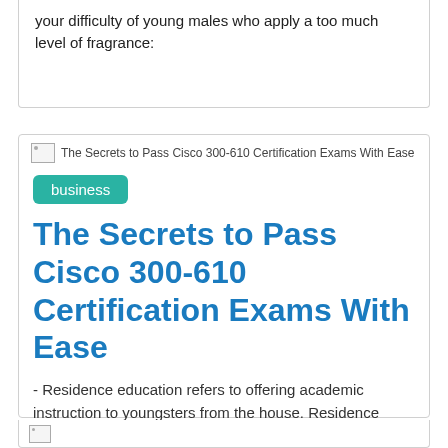your difficulty of young males who apply a too much level of fragrance:
[Figure (screenshot): Broken image placeholder with alt text: The Secrets to Pass Cisco 300-610 Certification Exams With Ease]
business
The Secrets to Pass Cisco 300-610 Certification Exams With Ease
- Residence education refers to offering academic instruction to youngsters from the house. Residence education delivers young